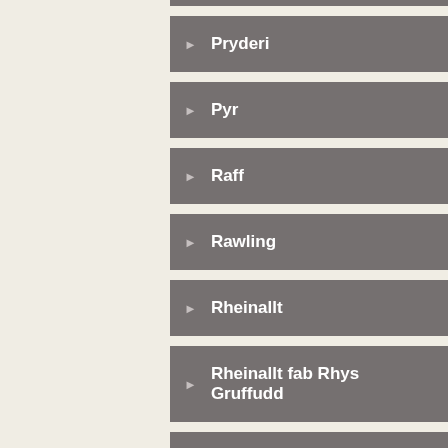Pryderi
Pyr
Raff
Rawling
Rheinallt
Rheinallt fab Rhys Gruffudd
Rhirid
Rhisiart